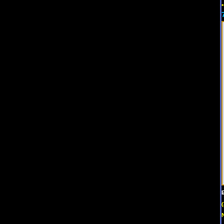* Verify mating product(s) design, size, depth
72350-F
[Figure (photo): White plastic flush mount wall box, open front view showing mounting screws and internal cable management features, 35mm deep European style.]
EUROPEAN, INTERNATIONAL, UK, BRITISH, (35mm DEEP), FLUSH MOUNTS SINGLE OUT Notes: * Accepts 86mmX86mm size Sockets, Outlets * Accepts NEMA 5-15R outlets, European , Bri * Verify mating components depth dimension * Wall box also accepts International modular * British, United Kingdom plugs, power cords products. Scroll down to view.
72360
[Figure (photo): White plastic surface mount wall box, angled view showing mounting screws, side cable entry knockouts, and internal features.]